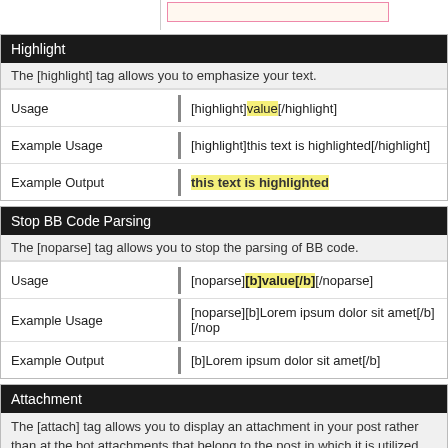Highlight
The [highlight] tag allows you to emphasize your text.
| Usage | [highlight]value[/highlight] |
| Example Usage | [highlight]this text is highlighted[/highlight] |
| Example Output | this text is highlighted |
Stop BB Code Parsing
The [noparse] tag allows you to stop the parsing of BB code.
| Usage | [noparse][b]value[/b][/noparse] |
| Example Usage | [noparse][b]Lorem ipsum dolor sit amet[/b][/nop |
| Example Output | [b]Lorem ipsum dolor sit amet[/b] |
Attachment
The [attach] tag allows you to display an attachment in your post rather than at the bot attachments that belong to the post in which it is utilized.